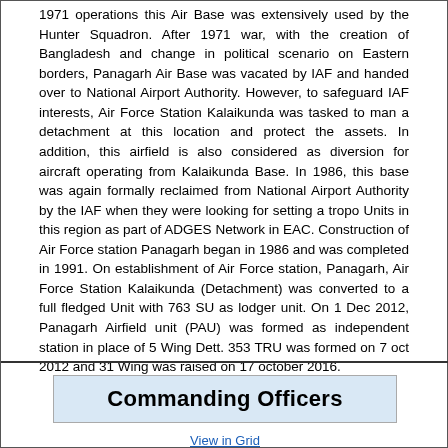1971 operations this Air Base was extensively used by the Hunter Squadron. After 1971 war, with the creation of Bangladesh and change in political scenario on Eastern borders, Panagarh Air Base was vacated by IAF and handed over to National Airport Authority. However, to safeguard IAF interests, Air Force Station Kalaikunda was tasked to man a detachment at this location and protect the assets. In addition, this airfield is also considered as diversion for aircraft operating from Kalaikunda Base. In 1986, this base was again formally reclaimed from National Airport Authority by the IAF when they were looking for setting a tropo Units in this region as part of ADGES Network in EAC. Construction of Air Force station Panagarh began in 1986 and was completed in 1991. On establishment of Air Force station, Panagarh, Air Force Station Kalaikunda (Detachment) was converted to a full fledged Unit with 763 SU as lodger unit. On 1 Dec 2012, Panagarh Airfield unit (PAU) was formed as independent station in place of 5 Wing Dett. 353 TRU was formed on 7 oct 2012 and 31 Wing was raised on 17 october 2016.
Commanding Officers
View in Grid